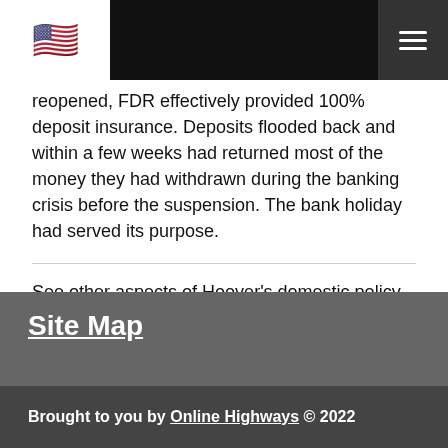[Navigation bar with US flag and menu icon]
reopened, FDR effectively provided 100% deposit insurance. Deposits flooded back and within a few weeks had returned most of the money they had withdrawn during the banking crisis before the suspension. The bank holiday had served its purpose.
See other aspects of Hoover's domestic policy.
Site Map
Brought to you by Online Highways © 2022